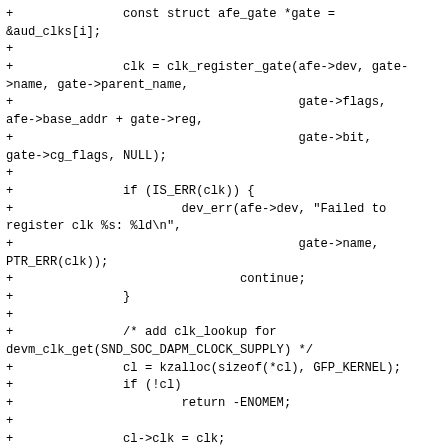[Figure (other): Source code diff showing C kernel clock registration and lookup code with lines prefixed by '+']